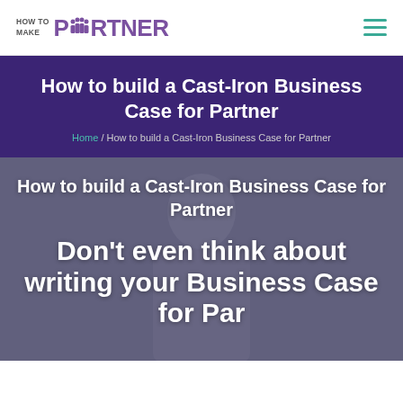HOW TO MAKE PARTNER
How to build a Cast-Iron Business Case for Partner
Home / How to build a Cast-Iron Business Case for Partner
[Figure (photo): A man with a beard in professional attire, used as a hero background image behind article title text]
How to build a Cast-Iron Business Case for Partner
Don't even think about writing your Business Case for Partner